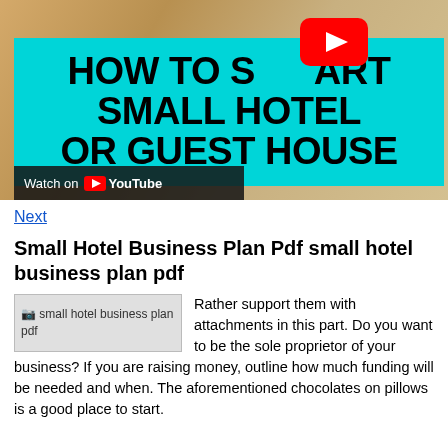[Figure (screenshot): YouTube video thumbnail showing 'HOW TO START SMALL HOTEL OR GUEST HOUSE' text on cyan background with YouTube play button, and 'Watch on YouTube' bar at bottom. Background shows a hotel room photo.]
Next
Small Hotel Business Plan Pdf small hotel business plan pdf
Rather support them with attachments in this part. Do you want to be the sole proprietor of your business? If you are raising money, outline how much funding will be needed and when. The aforementioned chocolates on pillows is a good place to start.